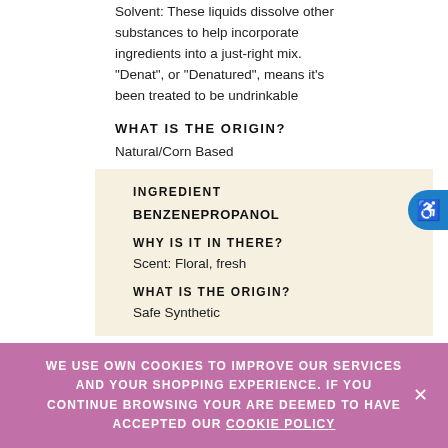Solvent: These liquids dissolve other substances to help incorporate ingredients into a just-right mix. "Denat", or "Denatured", means it's been treated to be undrinkable
WHAT IS THE ORIGIN?
Natural/Corn Based
INGREDIENT
BENZENEPROPANOL
WHY IS IT IN THERE?
Scent: Floral, fresh
WHAT IS THE ORIGIN?
Safe Synthetic
WE USE OWN COOKIES TO IMPROVE OUR SERVICES AND YOUR SHOPPING EXPERIENCE. IF YOU CONTINUE BROWSING YOUR ARE DEEMED TO HAVE ACCEPTED OUR COOKIE POLICY